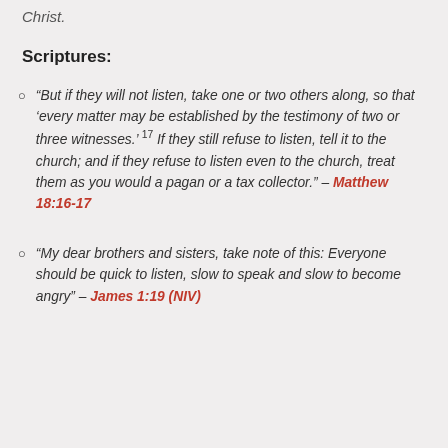Christ.
Scriptures:
“But if they will not listen, take one or two others along, so that ‘every matter may be established by the testimony of two or three witnesses.’ 17 If they still refuse to listen, tell it to the church; and if they refuse to listen even to the church, treat them as you would a pagan or a tax collector.” – Matthew 18:16-17
“My dear brothers and sisters, take note of this: Everyone should be quick to listen, slow to speak and slow to become angry” – James 1:19 (NIV)